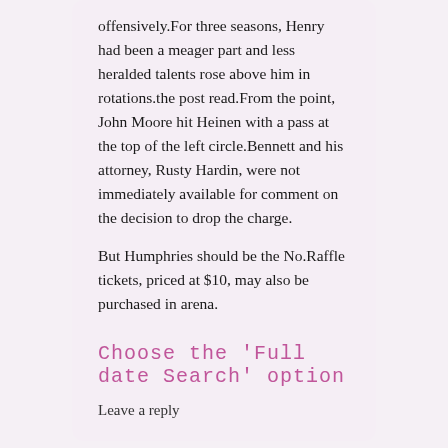offensively.For three seasons, Henry had been a meager part and less heralded talents rose above him in rotations.the post read.From the point, John Moore hit Heinen with a pass at the top of the left circle.Bennett and his attorney, Rusty Hardin, were not immediately available for comment on the decision to drop the charge.
But Humphries should be the No.Raffle tickets, priced at $10, may also be purchased in arena.
This entry was posted in wholesale nfl jerseys and tagged wholesale jerseys, Wholesale NFL Jerseys on April 26, 2019.
Choose the 'Full date Search' option
Leave a reply